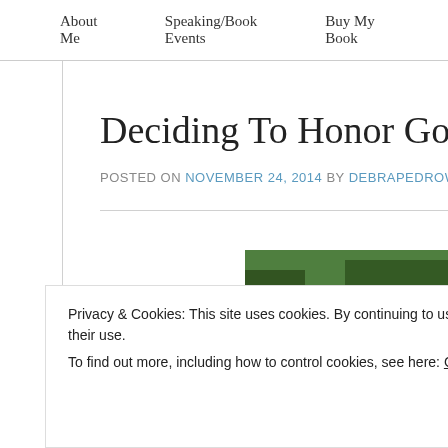About Me   Speaking/Book Events   Buy My Book
Deciding To Honor God’s Na…
POSTED ON NOVEMBER 24, 2014 BY DEBRAPEDROW
[Figure (photo): Outdoor photo with white text overlay reading 'What’s the…']
Privacy & Cookies: This site uses cookies. By continuing to use this website, you agree to their use.
To find out more, including how to control cookies, see here: Cookie Policy
Close and accept